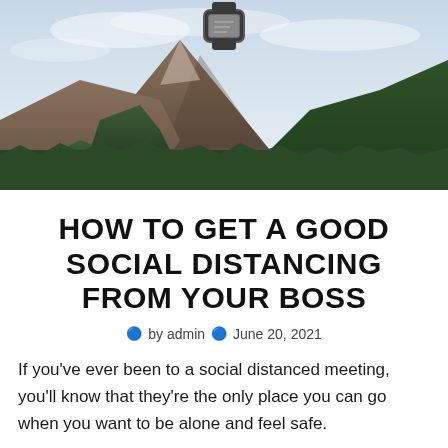[Figure (photo): Mountain landscape photo showing a rocky peak with forested slopes under a cloudy sky, with a device icon visible at the top]
HOW TO GET A GOOD SOCIAL DISTANCING FROM YOUR BOSS
by admin   June 20, 2021
If you've ever been to a social distanced meeting, you'll know that they're the only place you can go when you want to be alone and feel safe.